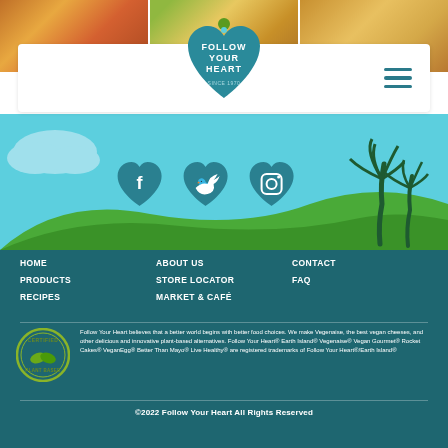[Figure (screenshot): Three food photos at the top: baked dish, food with peas, stuffed bread roll]
[Figure (logo): Follow Your Heart logo in teal heart shape with text FOLLOW YOUR HEART SINCE 1970]
[Figure (illustration): Teal scenic background with clouds, social media heart icons (Facebook, Twitter, Instagram), green hills, and dark palm trees]
HOME
PRODUCTS
RECIPES
ABOUT US
STORE LOCATOR
MARKET & CAFÉ
CONTACT
FAQ
[Figure (logo): Certified Plant Based circular badge logo with green leaves]
Follow Your Heart believes that a better world begins with better food choices. We make Vegenaise, the best vegan cheeses, and other delicious and innovative plant-based alternatives. Follow Your Heart® Earth Island® Vegenaise® Vegan Gourmet® Rocket Cakes® VeganEgg® Better Than Mayo® Live Healthy® are registered trademarks of Follow Your Heart®/Earth Island®
©2022 Follow Your Heart All Rights Reserved